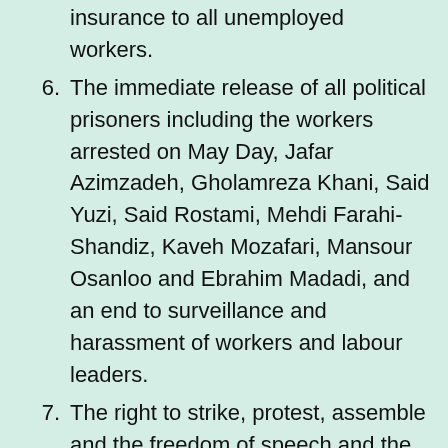insurance to all unemployed workers.
6. The immediate release of all political prisoners including the workers arrested on May Day, Jafar Azimzadeh, Gholamreza Khani, Said Yuzi, Said Rostami, Mehdi Farahi-Shandiz, Kaveh Mozafari, Mansour Osanloo and Ebrahim Madadi, and an end to surveillance and harassment of workers and labour leaders.
7. The right to strike, protest, assemble and the freedom of speech and the press are the workers' absolute right.
8. An end to sexual discrimination, child